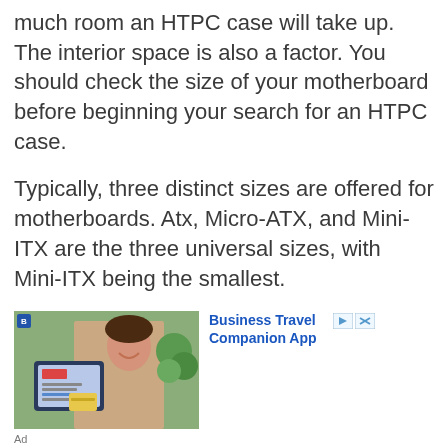much room an HTPC case will take up. The interior space is also a factor. You should check the size of your motherboard before beginning your search for an HTPC case.
Typically, three distinct sizes are offered for motherboards. Atx, Micro-ATX, and Mini-ITX are the three universal sizes, with Mini-ITX being the smallest.
[Figure (infographic): Advertisement banner showing a woman smiling and using a phone with the text 'Business Travel Companion App' and ad controls (play and close buttons). Labeled 'Ad' below.]